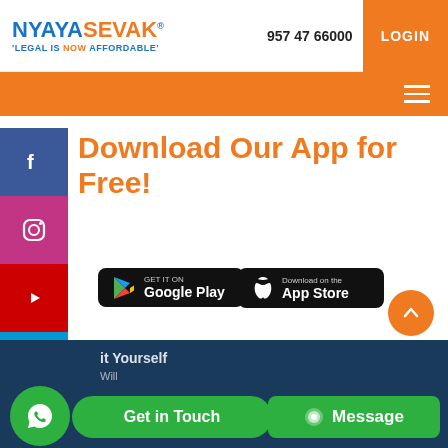[Figure (logo): NyayaSevak logo with tagline 'LEGAL IS NOW AFFORDABLE']
957 47 66000
LOGIN
[Figure (screenshot): Orange navigation bar with hamburger menu icon]
Download Our App for Free!
[Figure (screenshot): Social media sidebar with Facebook, Instagram, YouTube, RSS icons]
[Figure (screenshot): GET IT ON Google Play button]
[Figure (screenshot): Download on the App Store button]
[Figure (screenshot): Orange back-to-top arrow button]
[Figure (screenshot): Dark blue footer section]
Get in Touch
Message